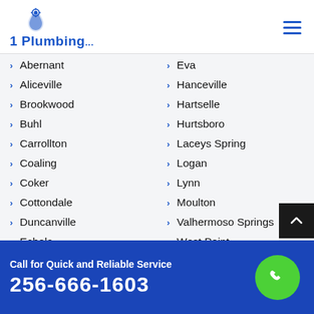1 Plumbing
Abernant
Eva
Aliceville
Hanceville
Brookwood
Hartselle
Buhl
Hurtsboro
Carrollton
Laceys Spring
Coaling
Logan
Coker
Lynn
Cottondale
Moulton
Duncanville
Valhermoso Springs
Echola
West Point
Call for Quick and Reliable Service
256-666-1603